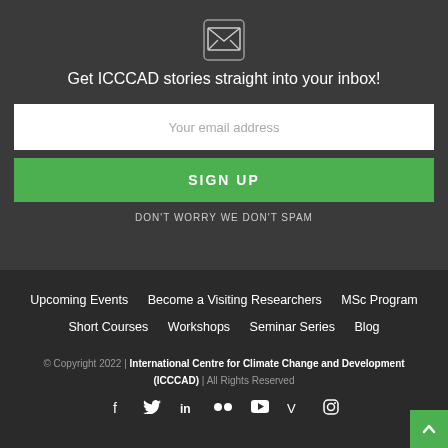[Figure (illustration): Envelope/mail icon in a square frame]
Get ICCCAD stories straight into your inbox!
Your email address
SIGN UP
DON'T WORRY WE DON'T SPAM
Upcoming Events
Become a Visiting Researchers
MSc Program
Short Courses
Workshops
Seminar Series
Blog
© Copyright 2022 | International Centre for Climate Change and Development (ICCCAD) | All Rights Reserved